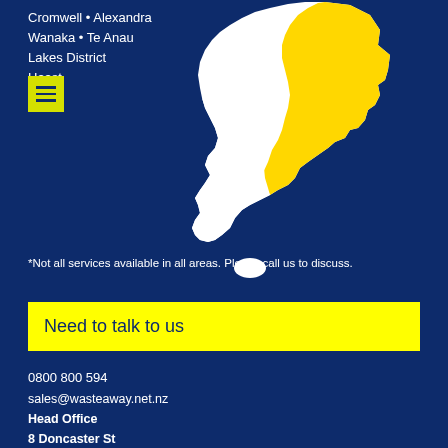Cromwell • Alexandra
Wanaka • Te Anau
Lakes District
Haast
[Figure (map): Map of New Zealand's South Island with a highlighted yellow region covering the central-eastern area, and white regions for other areas including the southern tip and Stewart Island.]
*Not all services available in all areas. Please call us to discuss.
Need to talk to us
0800 800 594
sales@wasteaway.net.nz
Head Office
8 Doncaster St